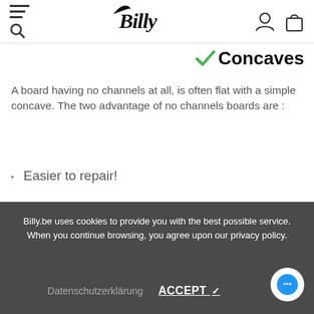Billy [logo] — navigation header with hamburger menu, search, user icon, bag icon
✓ Concaves
A board having no channels at all, is often flat with a simple concave. The two advantage of no channels boards are :
Easier to repair!
You can engage yourself in more slide way when jibing.
Billy.be uses cookies to provide you with the best possible service. When you continue browsing, you agree upon our privacy policy.
Datenschutzerklärung   ACCEPT ✓